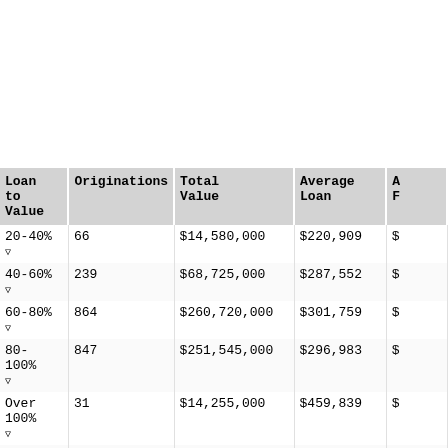| Loan to Value | Originations | Total Value | Average Loan | A F |
| --- | --- | --- | --- | --- |
| 20-40% | 66 | $14,580,000 | $220,909 | $ |
| 40-60% | 239 | $68,725,000 | $287,552 | $ |
| 60-80% | 864 | $260,720,000 | $301,759 | $ |
| 80-100% | 847 | $251,545,000 | $296,983 | $ |
| Over 100% | 31 | $14,255,000 | $459,839 | $ |
| Under | 1? | $1,4??,000 | $14?,000 | $ |